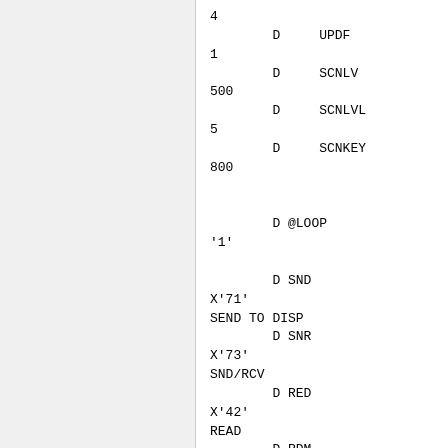4
        D     UPDF
1
        D     SCNLV
500
        D     SCNLVL
5
        D     SCNKEY
800


        D @LOOP                   C
'1'

        D SND                    C
X'71'
SEND TO DISP
        D SNR                    C
X'73'
SND/RCV
        D RED                    C
X'42'
READ
        D RDM                    C
X'52'
READ MTD
        D ESC                    C
X'04'
ESCAPE
        D CLR                    C
X'40'
CLEAR UNIT